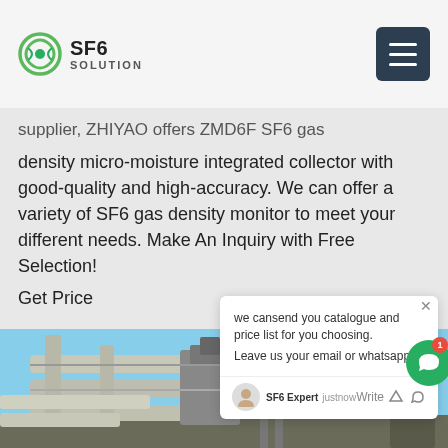SF6 SOLUTION
supplier, ZHIYAO offers ZMD6F SF6 gas density micro-moisture integrated collector with good-quality and high-accuracy. We can offer a variety of SF6 gas density monitor to meet your different needs. Make An Inquiry with Free Selection!
Get Price
[Figure (photo): Industrial facility with pipes, valves, and a large cylindrical tower against a blue sky]
we cansend you catalogue and price list for you choosing. Leave us your email or whatsapp.
SF6 Expert   justnow
Write